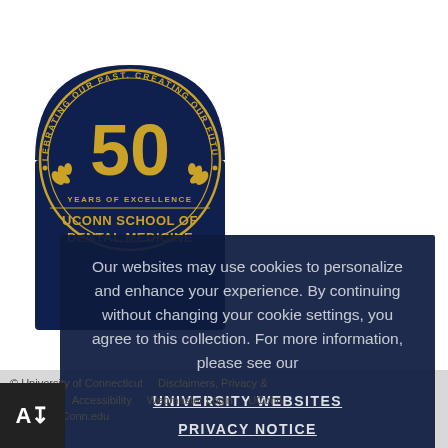[Figure (logo): UConn School of Dental Medicine 50th anniversary logo — circular dark navy badge with gold text 'CELEBRATING OUR PAST. CREATING OUR FUTURE.' around the arc, large gold '50' in the center, gold laurel branches, '50 YEARS OF EXCELLENCE' text below, and 'UCONN SCHOOL OF DENTAL MEDICINE' at the bottom]
Our websites may use cookies to personalize and enhance your experience. By continuing without changing your cookie settings, you agree to this collection. For more information, please see our UNIVERSITY WEBSITES PRIVACY NOTICE
OK ✓
© University of Connecticut    Disclaimers, Privacy & Copyright    Accessibility    Webmaster Login    UConn    JConn.edu